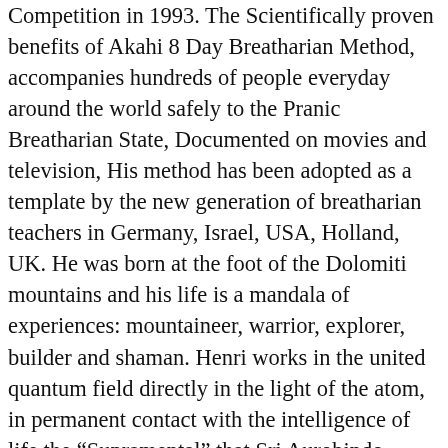Competition in 1993. The Scientifically proven benefits of Akahi 8 Day Breatharian Method, accompanies hundreds of people everyday around the world safely to the Pranic Breatharian State, Documented on movies and television, His method has been adopted as a template by the new generation of breatharian teachers in Germany, Israel, USA, Holland, UK. He was born at the foot of the Dolomiti mountains and his life is a mandala of experiences: mountaineer, warrior, explorer, builder and shaman. Henri works in the united quantum field directly in the light of the atom, in permanent contact with the intelligence of life the “Supramental” that Sri Aurobindo describes in his legacy, all this for a needed evolution of our civilization and to prepare the new paradigm rising. From 2013 great changes take place in her life, leaving out a big